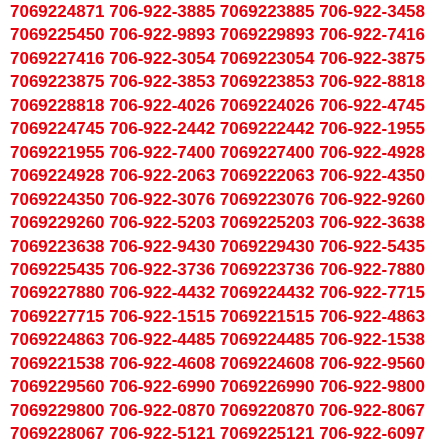7069224871 706-922-3885 7069223885 706-922-3458 7069225450 706-922-9893 7069229893 706-922-7416 7069227416 706-922-3054 7069223054 706-922-3875 7069223875 706-922-3853 7069223853 706-922-8818 7069228818 706-922-4026 7069224026 706-922-4745 7069224745 706-922-2442 7069222442 706-922-1955 7069221955 706-922-7400 7069227400 706-922-4928 7069224928 706-922-2063 7069222063 706-922-4350 7069224350 706-922-3076 7069223076 706-922-9260 7069229260 706-922-5203 7069225203 706-922-3638 7069223638 706-922-9430 7069229430 706-922-5435 7069225435 706-922-3736 7069223736 706-922-7880 7069227880 706-922-4432 7069224432 706-922-7715 7069227715 706-922-1515 7069221515 706-922-4863 7069224863 706-922-4485 7069224485 706-922-1538 7069221538 706-922-4608 7069224608 706-922-9560 7069229560 706-922-6990 7069226990 706-922-9800 7069229800 706-922-0870 7069220870 706-922-8067 7069228067 706-922-5121 7069225121 706-922-6097 7069226097 706-922-0436 7069220436 706-922-8123 7069228123 706-922-9812 7069229812 706-922-7039 7069227039 706-922-9891 7069229891 706-922-9280 7069229280 706-922-5089 7069225089 706-922-2658 7069222658 706-922-4862 7069224862 706-922-8139 7069228139 706-922-6860 7069226860 706-922-0419 7069220419 706-922-5997 7069225997 706-922-9967